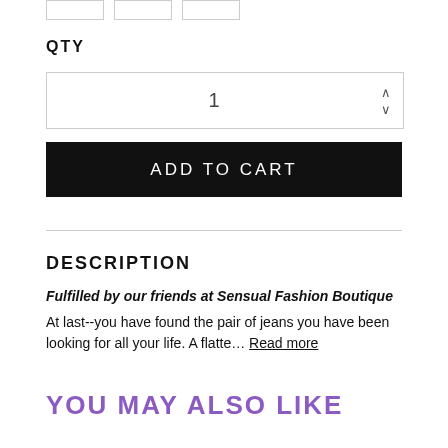[Figure (other): Three thumbnail image boxes at the top]
QTY
1
ADD TO CART
DESCRIPTION
Fulfilled by our friends at Sensual Fashion Boutique
At last--you have found the pair of jeans you have been looking for all your life. A flatte... Read more
YOU MAY ALSO LIKE